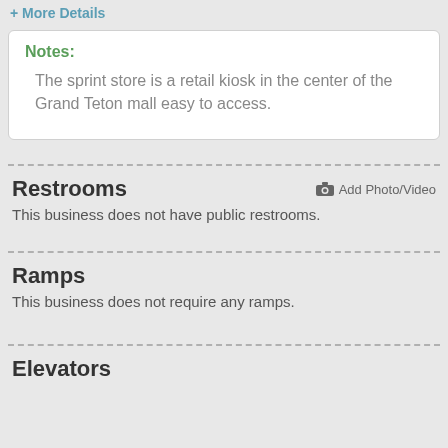+ More Details
Notes:
The sprint store is a retail kiosk in the center of the Grand Teton mall easy to access.
Restrooms
Add Photo/Video
This business does not have public restrooms.
Ramps
This business does not require any ramps.
Elevators